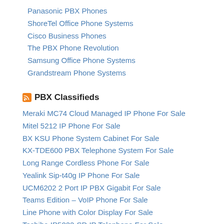Panasonic PBX Phones
ShoreTel Office Phone Systems
Cisco Business Phones
The PBX Phone Revolution
Samsung Office Phone Systems
Grandstream Phone Systems
PBX Classifieds
Meraki MC74 Cloud Managed IP Phone For Sale
Mitel 5212 IP Phone For Sale
BX KSU Phone System Cabinet For Sale
KX-TDE600 PBX Telephone System For Sale
Long Range Cordless Phone For Sale
Yealink Sip-t40g IP Phone For Sale
UCM6202 2 Port IP PBX Gigabit For Sale
Teams Edition – VoIP Phone For Sale
Line Phone with Color Display For Sale
Toshiba IP5022-SD IP Telephone For Sale